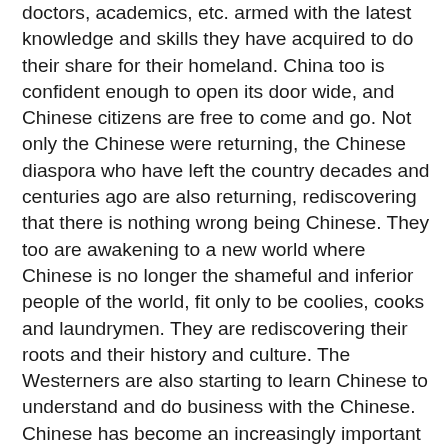doctors, academics, etc. armed with the latest knowledge and skills they have acquired to do their share for their homeland. China too is confident enough to open its door wide, and Chinese citizens are free to come and go. Not only the Chinese were returning, the Chinese diaspora who have left the country decades and centuries ago are also returning, rediscovering that there is nothing wrong being Chinese. They too are awakening to a new world where Chinese is no longer the shameful and inferior people of the world, fit only to be coolies, cooks and laundrymen. They are rediscovering their roots and their history and culture. The Westerners are also starting to learn Chinese to understand and do business with the Chinese. Chinese has become an increasingly important international language. While the West has just begun to learn Chinese, the Chinese are learning English in a big way. English is a very important must know language in China. In no time, the mainland Chinese are going to be proficient in both Chinese and English and will be well placed to benefit from the advances of science and technology. What have changed or contributed to this dramatic transformation of the world's political and demographic map? Were the new Chinese